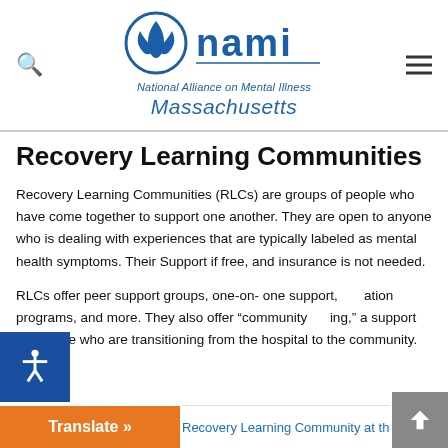NAMI - National Alliance on Mental Illness - Massachusetts
Recovery Learning Communities
Recovery Learning Communities (RLCs) are groups of people who have come together to support one another. They are open to anyone who is dealing with experiences that are typically labeled as mental health symptoms. Their Support if free, and insurance is not needed.
RLCs offer peer support groups, one-on-one support, education programs, and more. They also offer “community bridging,” a support for people who are transitioning from the hospital to the community.
Recovery Learning Community at the Kiva